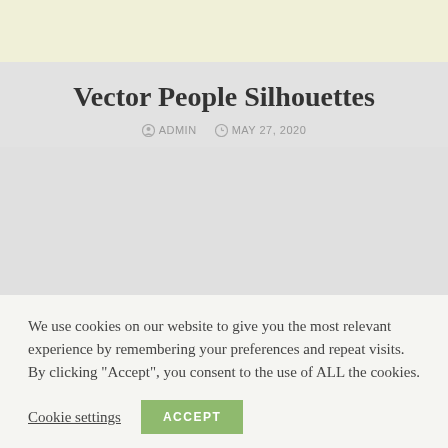Vector People Silhouettes
ADMIN   MAY 27, 2020
[Figure (other): Empty gray image placeholder area for the article]
We use cookies on our website to give you the most relevant experience by remembering your preferences and repeat visits. By clicking "Accept", you consent to the use of ALL the cookies.
Cookie settings   ACCEPT